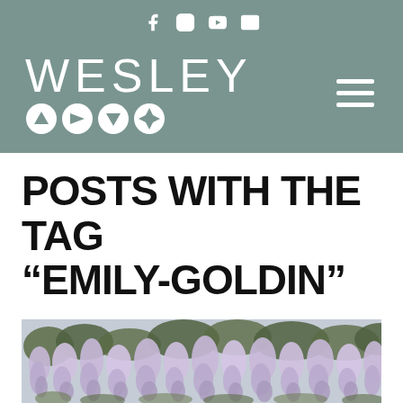Wesley (site header with social icons and logo)
POSTS WITH THE TAG “EMILY-GOLDIN”
[Figure (photo): Photo of blooming wisteria trees with cascading purple-white flower clusters filling the frame against a pale sky]